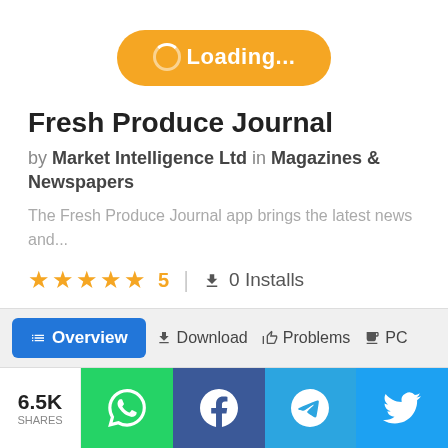[Figure (screenshot): Yellow loading button with spinner icon and text 'Loading...']
Fresh Produce Journal
by Market Intelligence Ltd in Magazines & Newspapers
The Fresh Produce Journal app brings the latest news and...
★★★★★ 5  |  ↓ 0 Installs
👍 1 Ratings  |  Free
Overview  Download  Problems  PC
6.5K SHARES